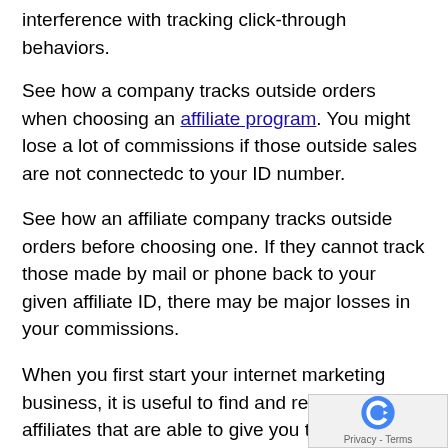interference with tracking click-through behaviors.
See how a company tracks outside orders when choosing an affiliate program. You might lose a lot of commissions if those outside sales are not connectedc to your ID number.
See how an affiliate company tracks outside orders before choosing one. If they cannot track those made by mail or phone back to your given affiliate ID, there may be major losses in your commissions.
When you first start your internet marketing business, it is useful to find and register with affiliates that are able to give you the services and products you want to sell. Joining several different affiliate networks can provide you a collective source of income. Research affiliates so you are comfortable with.
Marketing the currently popular products may not be as profitable as you expect. You want to have a good qua product that it do not to easily to profit. You